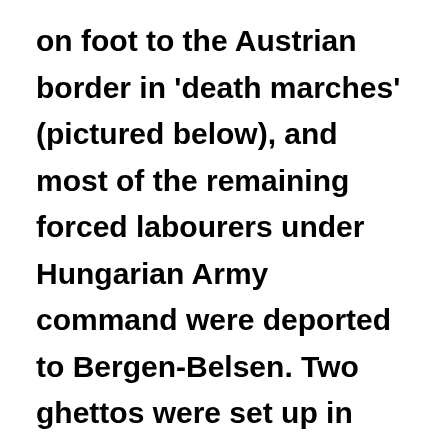on foot to the Austrian border in 'death marches' (pictured below), and most of the remaining forced labourers under Hungarian Army command were deported to Bergen-Belsen. Two ghettos were set up in Budapest. The big Budapest ghetto was set up and walled in the Erzsébetváros part of Budapest on 29 November. Arrow Cross raids and mass executions occurred in both ghettos